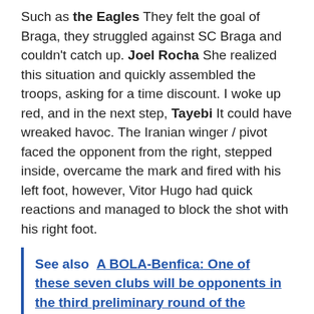Such as the Eagles They felt the goal of Braga, they struggled against SC Braga and couldn't catch up. Joel Rocha She realized this situation and quickly assembled the troops, asking for a time discount. I woke up red, and in the next step, Tayebi It could have wreaked havoc. The Iranian winger / pivot faced the opponent from the right, stepped inside, overcame the mark and fired with his left foot, however, Vitor Hugo had quick reactions and managed to block the shot with his right foot.
See also  A BOLA-Benfica: One of these seven clubs will be opponents in the third preliminary round of the UEFA Champions League (Benfica)
The Eagles kept pressing and delivering moments of high-tech quality. Robinho He started the play in the 18th minute, placing the ball on the opposite side. Chishkala